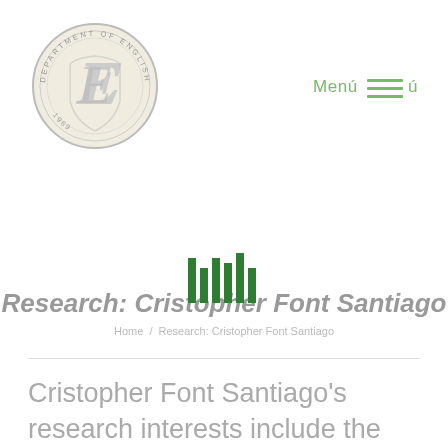[Figure (logo): Department of English circular seal with stylized E and year 1969]
Menú Menú
[Figure (logo): Green barcode-style vertical bars logo/icon]
Research: Cristopher Font Santiago
Home / Research: Cristopher Font Santiago
Cristopher Font Santiago's research interests include the